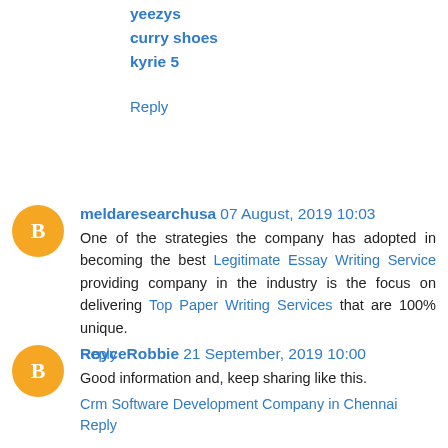yeezys
curry shoes
kyrie 5
Reply
meldaresearchusa 07 August, 2019 10:03
One of the strategies the company has adopted in becoming the best Legitimate Essay Writing Service providing company in the industry is the focus on delivering Top Paper Writing Services that are 100% unique.
Reply
RoyceRobbie 21 September, 2019 10:00
Good information and, keep sharing like this.
Crm Software Development Company in Chennai
Reply